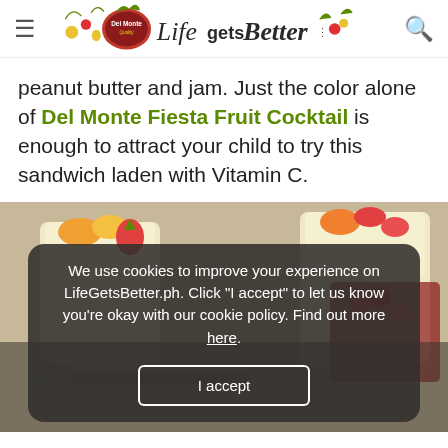Del Monte Life Gets Better (navigation header)
peanut butter and jam. Just the color alone of Del Monte Fiesta Fruit Cocktail is enough to attract your child to try this sandwich laden with Vitamin C.
[Figure (photo): Food photo showing dessert cups with fruit cocktail toppings, with a cookie consent overlay banner reading: We use cookies to improve your experience on LifeGetsBetter.ph. Click "I accept" to let us know you're okay with our cookie policy. Find out more here. With an 'I accept' button.]